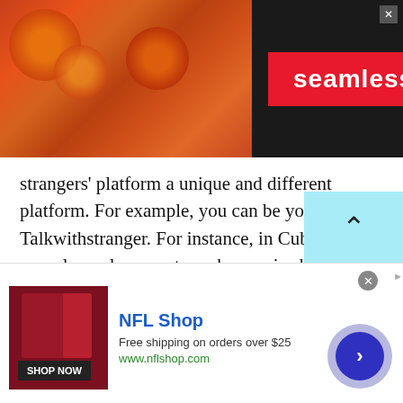[Figure (screenshot): Seamless food delivery advertisement banner with pizza image, red Seamless badge, and ORDER NOW button on dark background]
strangers' platform a unique and different platform. For example, you can be you on Talkwithstranger. For instance, in Cuba, bi-sexual people are not much appraised, rather they are considered cheap people. However, on this platform, these kinds of people can also feel loved. Since there are people from all around the world that are present on Cuban chat sites to chat with the people of Cuba. Some of the reasons that make this platform different are explained below.
[Figure (screenshot): NFL Shop advertisement with maroon clothing, Shop Now button, NFL Shop title, Free shipping on orders over $25, www.nflshop.com, and navigation arrow circle]